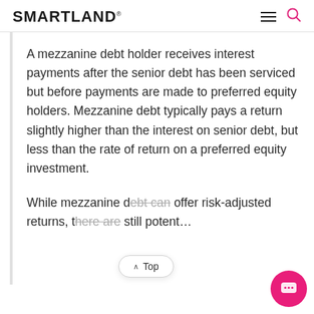SMARTLAND®
A mezzanine debt holder receives interest payments after the senior debt has been serviced but before payments are made to preferred equity holders. Mezzanine debt typically pays a return slightly higher than the interest on senior debt, but less than the rate of return on a preferred equity investment.
While mezzanine debt can offer risk-adjusted returns, there are still potential risk factors to consider with...